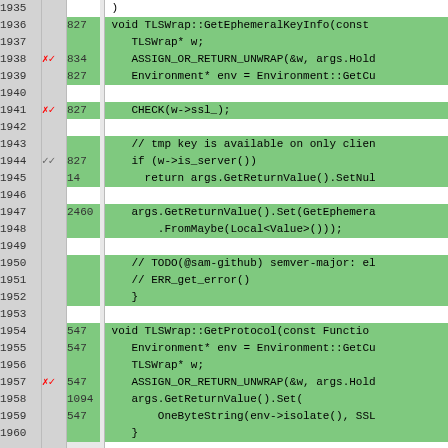[Figure (screenshot): Code diff/coverage view showing lines 1935-1960 of a C++ source file (TLSWrap) with line numbers, coverage markers, hit counts, and code content on green (covered) or white (uncovered) backgrounds.]